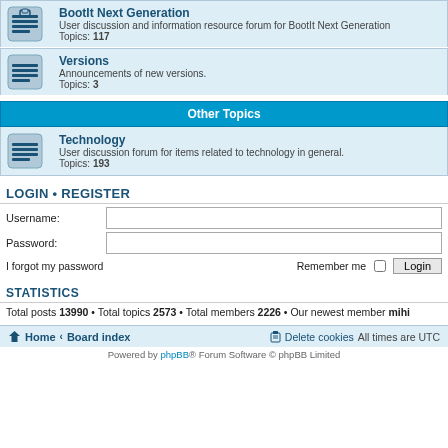BootIt Next Generation - User discussion and information resource forum for BootIt Next Generation. Topics: 117
Versions - Announcements of new versions. Topics: 3
Other Topics
Technology - User discussion forum for items related to technology in general. Topics: 193
LOGIN • REGISTER
Username:
Password:
I forgot my password
Remember me
STATISTICS
Total posts 13990 • Total topics 2573 • Total members 2226 • Our newest member mihi
Home · Board index   Delete cookies  All times are UTC
Powered by phpBB® Forum Software © phpBB Limited